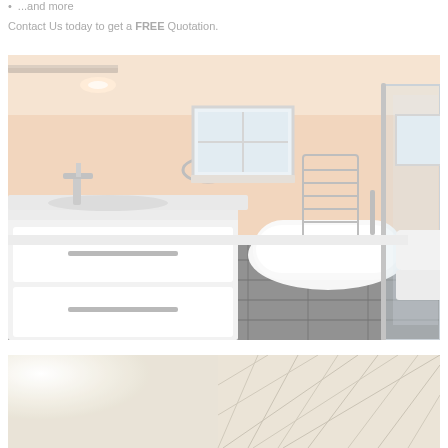...and more
Contact Us today to get a FREE Quotation.
[Figure (photo): Modern bathroom with peach/salmon colored walls, white freestanding bathtub, white vanity unit with drawer handles, chrome basin tap, heated towel rail, glass shower enclosure, dark slate tile floor, and a frosted window.]
[Figure (photo): Partial view of a bright room with white/light tones and decorative geometric pattern elements visible at bottom of page.]